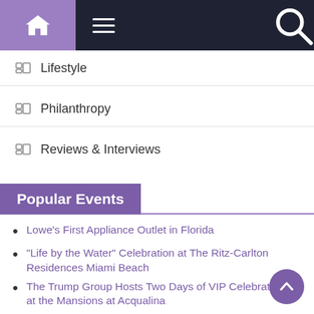Navigation bar with home, menu, and search icons
Lifestyle
Philanthropy
Reviews & Interviews
Popular Events
Lowe's First Appliance Outlet in Florida
“Life by the Water” Celebration at The Ritz-Carlton Residences Miami Beach
The Trump Group Hosts Two Days of VIP Celebrations at the Mansions at Acqualina
The Jon Jay FMSbonds Celebrity Bowling Challenge 2
The Gramercy Launches Express Lunch and Happy Ho
HistoryMiami Becomes Smithsonian Affiliate